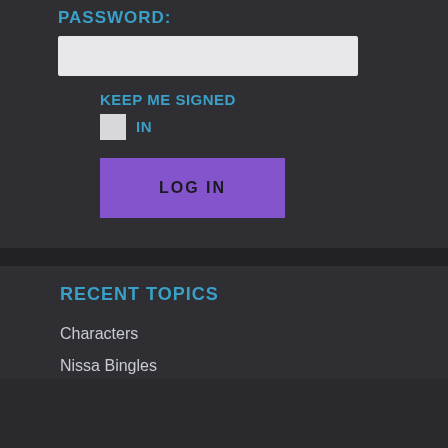PASSWORD:
[Figure (screenshot): Password input field, a light gray rectangular input box]
KEEP ME SIGNED IN
[Figure (screenshot): Checkbox (unchecked) next to text]
LOG IN
RECENT TOPICS
Characters
Nissa Bingles